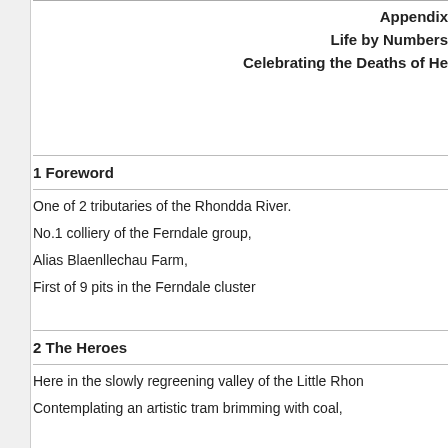Appendix
Life by Numbers
Celebrating the Deaths of He
1 Foreword
One of 2 tributaries of the Rhondda River.
No.1 colliery of the Ferndale group,
Alias Blaenllechau Farm,
First of 9 pits in the Ferndale cluster
2 The Heroes
Here in the slowly regreening valley of the Little Rhon
Contemplating an artistic tram brimming with coal,